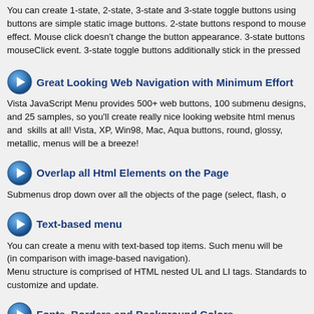You can create 1-state, 2-state, 3-state and 3-state toggle buttons using Vista JavaScript Menu. 1-state buttons are simple static image buttons. 2-state buttons respond to mouseover event and have normal/over effect. Mouse click doesn't change the button appearance. 3-state buttons respond to mouseOver, mouseOut and mouseClick event. 3-state toggle buttons additionally stick in the pressed state.
Great Looking Web Navigation with Minimum Effort
Vista JavaScript Menu provides 500+ web buttons, 100 submenu designs, and 25 pre-made samples, so you'll create really nice looking website html menus and web navigation quickly and without special skills at all! Vista, XP, Win98, Mac, Aqua buttons, round, glossy, metallic, 3d, tab menus, drop down menus will be a breeze!
Overlap all Html Elements on the Page
Submenus drop down over all the objects of the page (select, flash, o...
Text-based menu
You can create a menu with text-based top items. Such menu will be lighter and more comfortable (in comparison with image-based navigation).
Menu structure is comprised of HTML nested UL and LI tags. Standards compliant and easy to customize and update.
Fonts, Borders and Background Colors
Use any necessary font of any color, size and font decoration for normal and mouse over states. Set available type, thickness and color of a menu's frame. Choose any color for submenus and items.
...